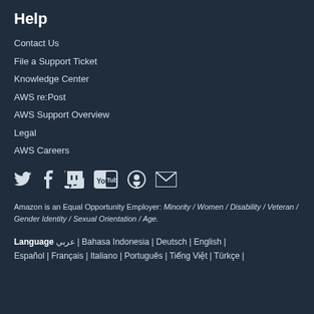Help
Contact Us
File a Support Ticket
Knowledge Center
AWS re:Post
AWS Support Overview
Legal
AWS Careers
[Figure (infographic): Row of social media icons: Twitter, Facebook, Twitch, YouTube, Podcast, Email]
Amazon is an Equal Opportunity Employer: Minority / Women / Disability / Veteran / Gender Identity / Sexual Orientation / Age.
Language عربي | Bahasa Indonesia | Deutsch | English | Español | Français | Italiano | Português | Tiếng Việt | Türkçe |